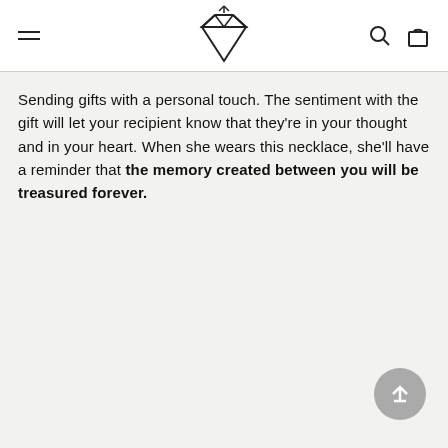[navigation header with hamburger menu, diamond logo, search and bag icons]
Sending gifts with a personal touch. The sentiment with the gift will let your recipient know that they're in your thought and in your heart. When she wears this necklace, she'll have a reminder that the memory created between you will be treasured forever.